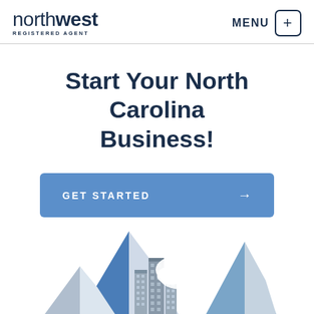northwest REGISTERED AGENT | MENU
Start Your North Carolina Business!
[Figure (other): GET STARTED button with arrow →]
[Figure (illustration): Isometric illustration of mountain peaks and city buildings in blue, grey, and white tones]